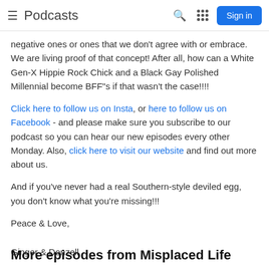≡ Podcasts  🔍  ⋮⋮⋮  Sign in
negative ones or ones that we don't agree with or embrace. We are living proof of that concept! After all, how can a White Gen-X Hippie Rock Chick and a Black Gay Polished Millennial become BFF"s if that wasn't the case!!!!
Click here to follow us on Insta, or here to follow us on Facebook - and please make sure you subscribe to our podcast so you can hear our new episodes every other Monday. Also, click here to visit our website and find out more about us.
And if you've never had a real Southern-style deviled egg, you don't know what you're missing!!!
Peace & Love,

Ginger & Donzell
More episodes from Misplaced Life